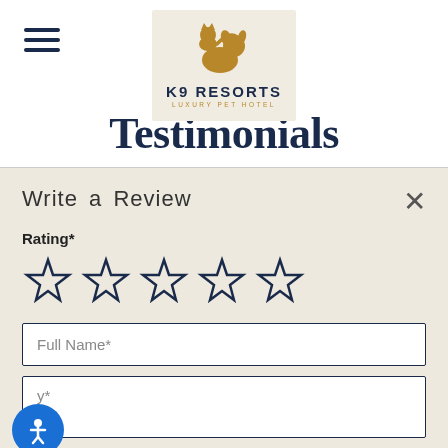[Figure (logo): K9 Resorts Luxury Pet Hotel logo with cat/dog silhouette icon on beige background]
Testimonials
Write a Review
Rating*
[Figure (illustration): Five empty/outline star icons for rating selection in dark navy blue]
Full Name*
y*